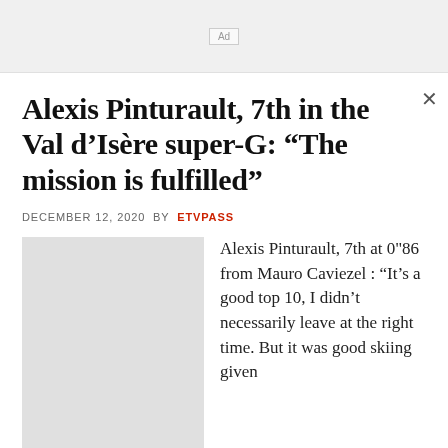[Figure (other): Ad placeholder box]
Alexis Pinturault, 7th in the Val d'Isère super-G: “The mission is fulfilled”
DECEMBER 12, 2020 BY ETVPASS
[Figure (photo): Gray placeholder image accompanying the article]
Alexis Pinturault, 7th at 0"86 from Mauro Caviezel : “It’s a good top 10, I didn’t necessarily leave at the right time. But it was good skiing given my bib (15). I’m pretty happy I chose to line up